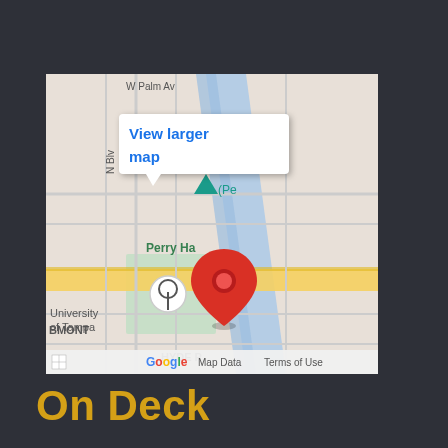[Figure (map): Google Maps screenshot showing Tampa, FL area with a red pin marker dropped in the area near Perry Harvey Park and the Hillsborough River, with University of Tampa visible to the south. A white popup tooltip reads 'View larger map' in blue text. The map footer shows 'Google', 'Map Data', and 'Terms of Use'. Hyde Park label visible at bottom.]
On Deck